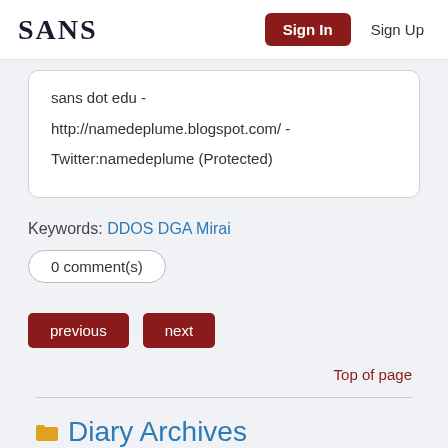SANS | Sign In | Sign Up
sans dot edu - http://namedeplume.blogspot.com/ - Twitter:namedeplume (Protected)
Keywords: DDOS DGA Mirai
0 comment(s)
previous  next
Top of page
Diary Archives